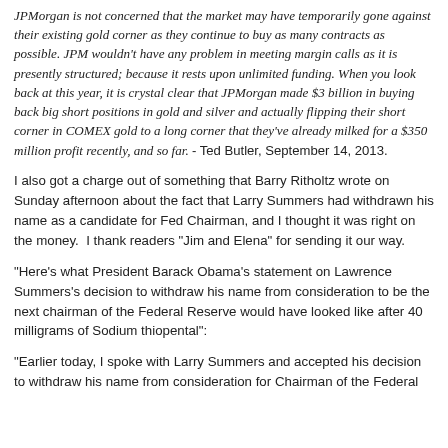JPMorgan is not concerned that the market may have temporarily gone against their existing gold corner as they continue to buy as many contracts as possible. JPM wouldn't have any problem in meeting margin calls as it is presently structured; because it rests upon unlimited funding. When you look back at this year, it is crystal clear that JPMorgan made $3 billion in buying back big short positions in gold and silver and actually flipping their short corner in COMEX gold to a long corner that they've already milked for a $350 million profit recently, and so far. - Ted Butler, September 14, 2013.
I also got a charge out of something that Barry Ritholtz wrote on Sunday afternoon about the fact that Larry Summers had withdrawn his name as a candidate for Fed Chairman, and I thought it was right on the money.  I thank readers "Jim and Elena" for sending it our way.
"Here's what President Barack Obama's statement on Lawrence Summers's decision to withdraw his name from consideration to be the next chairman of the Federal Reserve would have looked like after 40 milligrams of Sodium thiopental":
"Earlier today, I spoke with Larry Summers and accepted his decision to withdraw his name from consideration for Chairman of the Federal